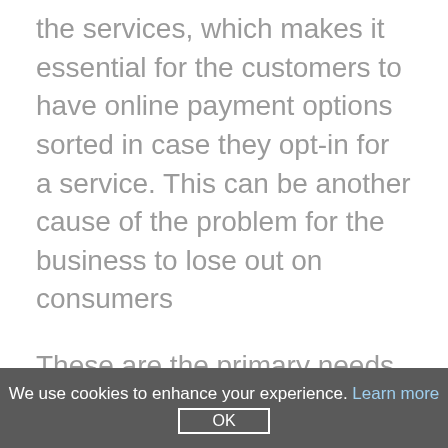the services, which makes it essential for the customers to have online payment options sorted in case they opt-in for a service. This can be another cause of the problem for the business to lose out on consumers
These are the primary needs that need to be sorted from both the business and consumers to avoid issues in the same. Having a strong support team can help the consumers to navigate better through the anticipated problems.
The best companies thriving in the lockdown are discussed in detail in this section. These businesses are
We use cookies to enhance your experience. Learn more
OK